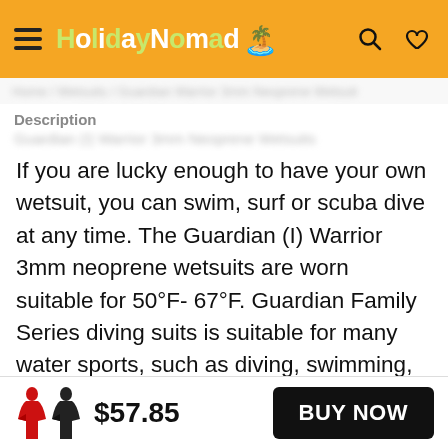HolidayNomad
Description
If you are lucky enough to have your own wetsuit, you can swim, surf or scuba dive at any time. The Guardian (I) Warrior 3mm neoprene wetsuits are worn suitable for 50°F- 67°F. Guardian Family Series diving suits is suitable for many water sports, such as diving, swimming, surfing, snorkeling, paddle boarding, kiteboarding, wakeboarding, kayaking, sailing and so on. With better technical support, Hevto wetsuits can play a better performance and provide better protection for the body.
$57.85 BUY NOW